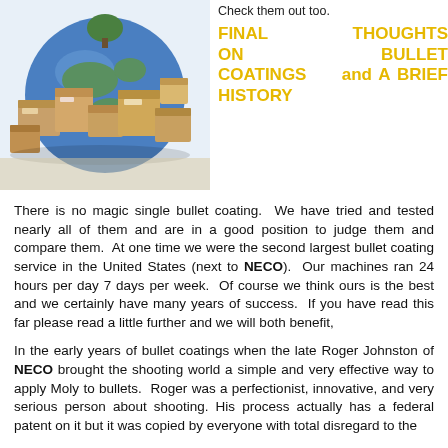Check them out too.
[Figure (photo): Photo of cardboard boxes stacked around a globe, suggesting global shipping.]
FINAL THOUGHTS ON BULLET COATINGS and A BRIEF HISTORY
There is no magic single bullet coating.  We have tried and tested nearly all of them and are in a good position to judge them and compare them.  At one time we were the second largest bullet coating service in the United States (next to NECO).  Our machines ran 24 hours per day 7 days per week.  Of course we think ours is the best and we certainly have many years of success.  If you have read this far please read a little further and we will both benefit,
In the early years of bullet coatings when the late Roger Johnston of NECO brought the shooting world a simple and very effective way to apply Moly to bullets.  Roger was a perfectionist, innovative, and very serious person about shooting. His process actually has a federal patent on it but it was copied by everyone with total disregard to the